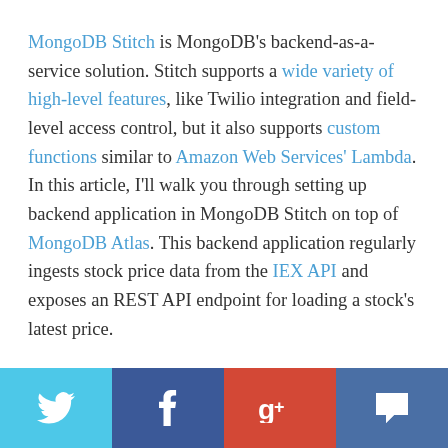MongoDB Stitch is MongoDB's backend-as-a-service solution. Stitch supports a wide variety of high-level features, like Twilio integration and field-level access control, but it also supports custom functions similar to Amazon Web Services' Lambda. In this article, I'll walk you through setting up backend application in MongoDB Stitch on top of MongoDB Atlas. This backend application regularly ingests stock price data from the IEX API and exposes an REST API endpoint for loading a stock's latest price.
[Figure (other): Social sharing bar with Twitter, Facebook, Google+, and comment buttons]